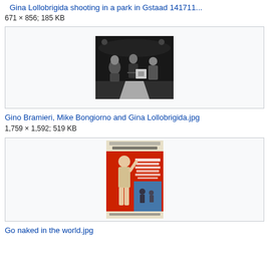Gina Lollobrigida shooting in a park in Gstaad 141711...
671 × 856; 185 KB
[Figure (photo): Black and white photograph of Gino Bramieri, Mike Bongiorno and Gina Lollobrigida]
Gino Bramieri, Mike Bongiorno and Gina Lollobrigida.jpg
1,759 × 1,592; 519 KB
[Figure (photo): Movie poster for Go Naked in the World featuring Gina Lollobrigida, Anthony Franciosa, Ernest Borgnine]
Go naked in the world.jpg